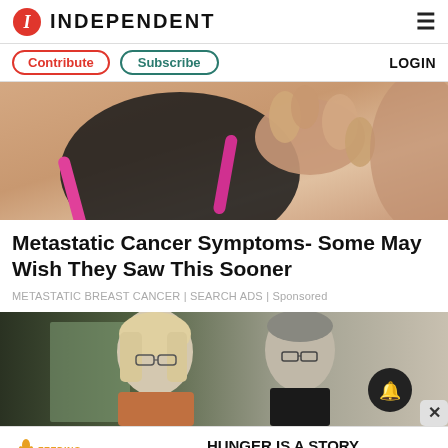INDEPENDENT
Contribute | Subscribe | LOGIN
[Figure (photo): Close-up photo of a woman in a sports bra touching her chest/breast area, used as ad image for metastatic cancer symptoms]
Metastatic Cancer Symptoms- Some May Wish They Saw This Sooner
METASTATIC BREAST CANCER | SEARCH ADS | Sponsored
[Figure (photo): Photo of an elderly couple sitting in a bedroom, woman with blonde hair and glasses, man with glasses behind her]
[Figure (infographic): Feeding America / Ad Council banner ad: HUNGER IS A STORY WE CAN END.]